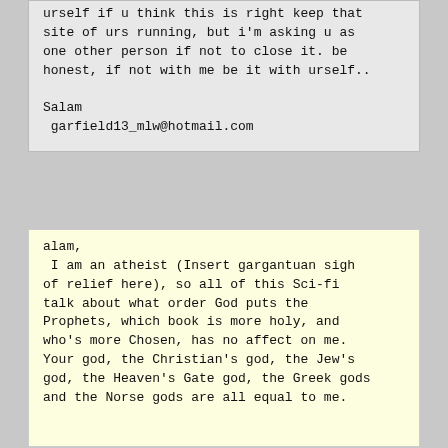urself if u think this is right keep that site of urs running, but i'm asking u as one other person if not to close it. be honest, if not with me be it with urself..

Salam
 garfield13_mlw@hotmail.com
alam,
 I am an atheist (Insert gargantuan sigh of relief here), so all of this Sci-fi talk about what order God puts the Prophets, which book is more holy, and who's more Chosen, has no affect on me. Your god, the Christian's god, the Jew's god, the Heaven's Gate god, the Greek gods and the Norse gods are all equal to me.